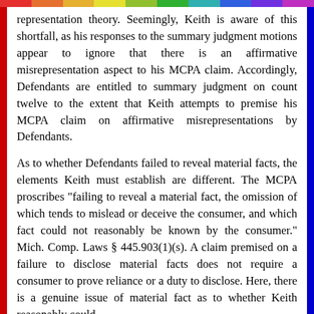representation theory. Seemingly, Keith is aware of this shortfall, as his responses to the summary judgment motions appear to ignore that there is an affirmative misrepresentation aspect to his MCPA claim. Accordingly, Defendants are entitled to summary judgment on count twelve to the extent that Keith attempts to premise his MCPA claim on affirmative misrepresentations by Defendants.
As to whether Defendants failed to reveal material facts, the elements Keith must establish are different. The MCPA proscribes "failing to reveal a material fact, the omission of which tends to mislead or deceive the consumer, and which fact could not reasonably be known by the consumer." Mich. Comp. Laws § 445.903(1)(s). A claim premised on a failure to disclose material facts does not require a consumer to prove reliance or a duty to disclose. Here, there is a genuine issue of material fact as to whether Keith reasonably could